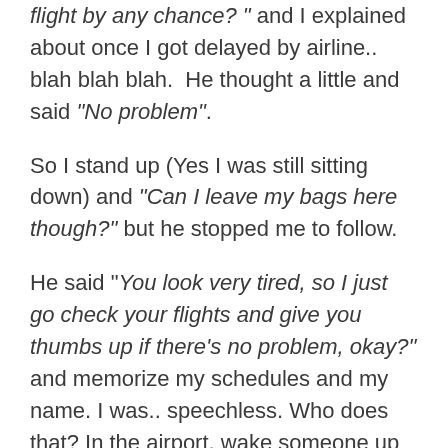flight by any chance? " and I explained about once I got delayed by airline.. blah blah blah.  He thought a little and said "No problem".
So I stand up (Yes I was still sitting down) and "Can I leave my bags here though?" but he stopped me to follow.
He said "You look very tired, so I just go check your flights and give you thumbs up if there's no problem, okay?" and memorize my schedules and my name. I was.. speechless. Who does that? In the airport, wake someone up and ask flight schedule because they don't want you to miss your flight and check flight information you early. I was so touched by his